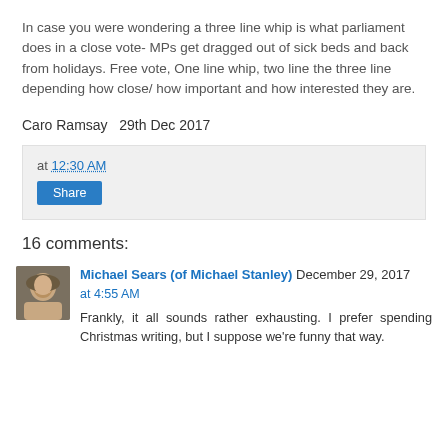In case you were wondering a three line whip is what parliament does in a close vote- MPs get dragged out of sick beds and back from holidays. Free vote, One line whip, two line the three line depending how close/ how important and how interested they are.
Caro Ramsay  29th Dec 2017
at 12:30 AM
Share
16 comments:
Michael Sears (of Michael Stanley) December 29, 2017 at 4:55 AM
Frankly, it all sounds rather exhausting. I prefer spending Christmas writing, but I suppose we're funny that way.